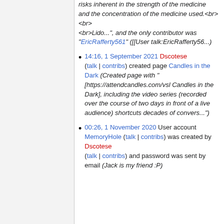risks inherent in the strength of the medicine and the concentration of the medicine used.<br><br><br>Lido...", and the only contributor was "EricRafferty561" ([[User talk:EricRafferty56...)
14:16, 1 September 2021 Dscotese (talk | contribs) created page Candles in the Dark (Created page with "[https://attendcandles.com/vsl Candles in the Dark], including the video series (recorded over the course of two days in front of a live audience) shortcuts decades of convers...")
00:26, 1 November 2020 User account MemoryHole (talk | contribs) was created by Dscotese (talk | contribs) and password was sent by email (Jack is my friend :P)